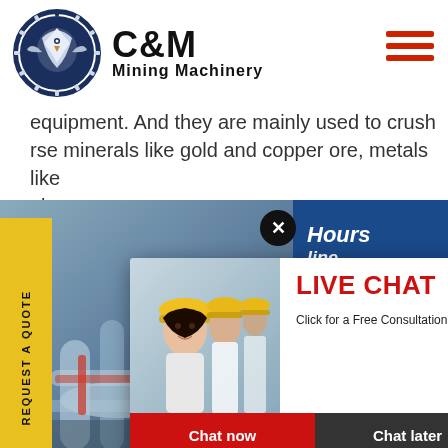[Figure (logo): C&M Mining Machinery logo with eagle/gear icon in dark navy blue circle, company name in bold black text]
[Figure (illustration): Hamburger menu icon (three horizontal red lines) top right]
equipment. And they are mainly used to crush arse minerals like gold and copper ore, metals like el
[Figure (infographic): Yellow vertical REQUEST A QUOTE tab on left side]
[Figure (photo): Industrial machinery/equipment background photo with pipes and equipment]
[Figure (photo): Right panel showing customer service agent (woman with headset smiling), with blue 'Click to Chat' bar and 'Enquiry' section below]
[Figure (infographic): Blue banner top right showing '24 Hours Online' text]
[Figure (screenshot): Live Chat popup overlay: workers in hard hats photo on left, LIVE CHAT title in red, 'Click for a Free Consultation' subtitle, Chat now (red) and Chat later (dark) buttons, close X circle button]
Click to Chat
Enquiry